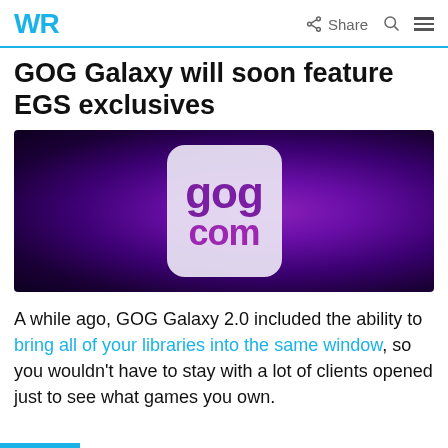WR | Share
GOG Galaxy will soon feature EGS exclusives
[Figure (photo): GOG.com logo on a purple galaxy/space background banner]
A while ago, GOG Galaxy 2.0 included the ability to bring all of your libraries into the same window, so you wouldn't have to stay with a lot of clients opened just to see what games you own.